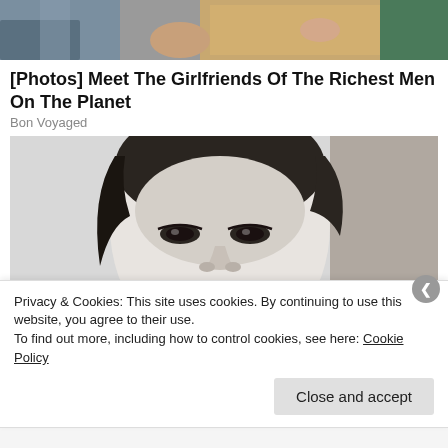[Figure (photo): Cropped top portion of a photo showing two people sitting together, partially visible]
[Photos] Meet The Girlfriends Of The Richest Men On The Planet
Bon Voyaged
[Figure (photo): Black and white close-up photo of a young person with dark wavy hair]
Privacy & Cookies: This site uses cookies. By continuing to use this website, you agree to their use.
To find out more, including how to control cookies, see here: Cookie Policy
Close and accept